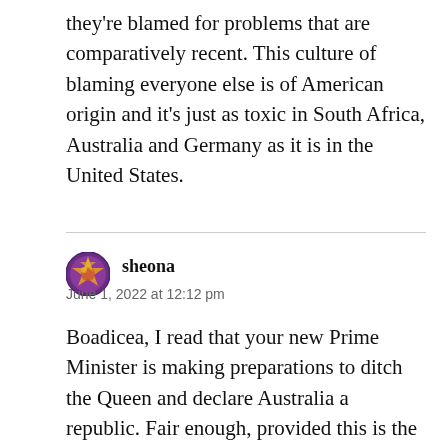they're blamed for problems that are comparatively recent. This culture of blaming everyone else is of American origin and it's just as toxic in South Africa, Australia and Germany as it is in the United States.
sheona
June 1, 2022 at 12:12 pm
Boadicea, I read that your new Prime Minister is making preparations to ditch the Queen and declare Australia a republic. Fair enough, provided this is the will of the majority of Australians. Other reports I have read from the Caribbean islands, some of which are proposing